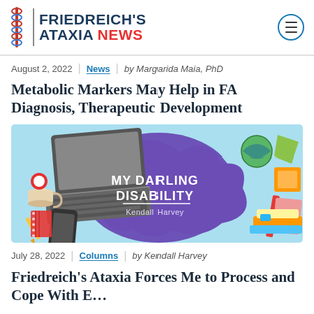FRIEDREICH'S ATAXIA NEWS
August 2, 2022 | News | by Margarida Maia, PhD
Metabolic Markers May Help in FA Diagnosis, Therapeutic Development
[Figure (illustration): Illustration for 'My Darling Disability' by Kendall Harvey — a colorful flat-design image showing a desk with laptop, keyboard, phone, notebook and scattered objects on a light blue background, with a large purple blob shape in the center bearing the text 'MY DARLING DISABILITY' and 'Kendall Harvey']
July 28, 2022 | Columns | by Kendall Harvey
Friedreich's Ataxia Forces Me to Process and Cope With E...